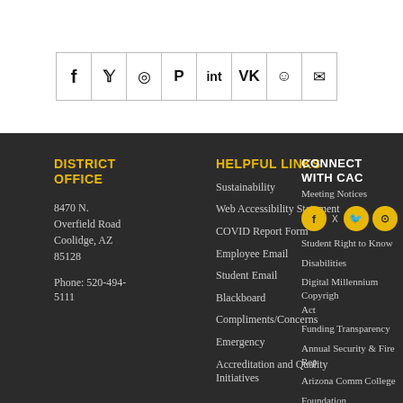[Figure (other): Social media sharing bar with icons: f (Facebook), bird (Twitter), circle (WhatsApp), P (Pinterest), int, VK, reddit alien, envelope (Email)]
DISTRICT OFFICE
8470 N. Overfield Road Coolidge, AZ 85128
Phone: 520-494-5111
HELPFUL LINKS
Sustainability
Web Accessibility Statement
COVID Report Form
Employee Email
Student Email
Blackboard
Compliments/Concerns
Emergency
Accreditation and Quality Initiatives
CONNECT WITH CAC
Meeting Notices
[Figure (other): Social media icons row: Facebook (yellow circle), X (text), Twitter (yellow circle), Instagram (yellow circle)]
Student Right to Know
Disabilities
Digital Millennium Copyright Act
Funding Transparency
Annual Security & Fire Report
Arizona Community College Foundation